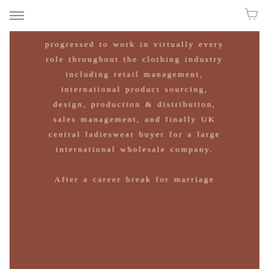[hamburger menu icon] [cart icon]
progressed to work in virtually every role throughout the clothing industry including retail management, international product sourcing, design, production & distribution, sales management, and finally UK central ladieswear buyer for a large international wholesale company. After a career break for marriage